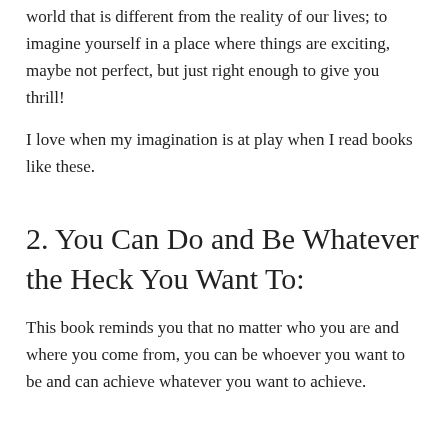world that is different from the reality of our lives; to imagine yourself in a place where things are exciting, maybe not perfect, but just right enough to give you thrill!
I love when my imagination is at play when I read books like these.
2. You Can Do and Be Whatever the Heck You Want To:
This book reminds you that no matter who you are and where you come from, you can be whoever you want to be and can achieve whatever you want to achieve.